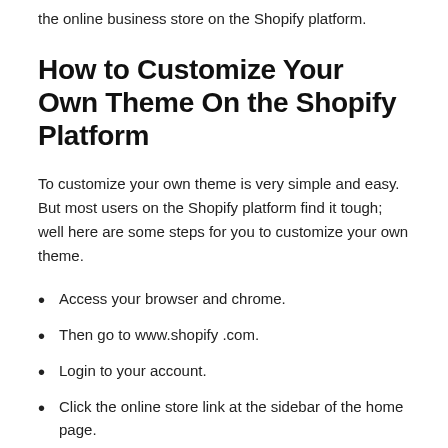the online business store on the Shopify platform.
How to Customize Your Own Theme On the Shopify Platform
To customize your own theme is very simple and easy. But most users on the Shopify platform find it tough; well here are some steps for you to customize your own theme.
Access your browser and chrome.
Then go to www.shopify .com.
Login to your account.
Click the online store link at the sidebar of the home page.